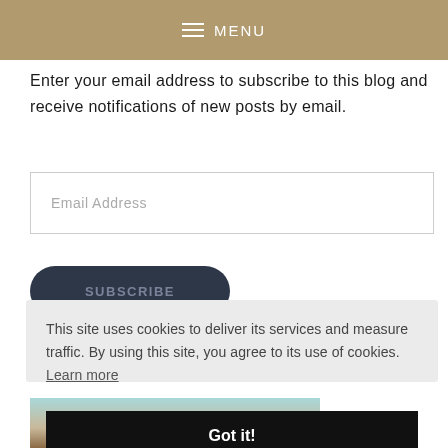≡ MENU
Enter your email address to subscribe to this blog and receive notifications of new posts by email.
Email Address
SUBSCRIBE
This site uses cookies to deliver its services and measure traffic. By using this site, you agree to its use of cookies. Learn more
Got it!
[Figure (photo): Partial photo strip at the bottom showing a landscape scene with teal sky and brown rocky terrain]